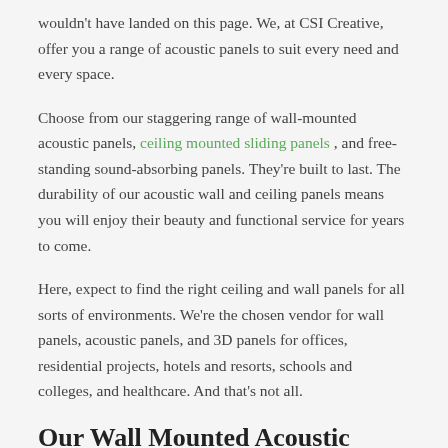wouldn't have landed on this page. We, at CSI Creative, offer you a range of acoustic panels to suit every need and every space.
Choose from our staggering range of wall-mounted acoustic panels, ceiling mounted sliding panels, and free-standing sound-absorbing panels. They're built to last. The durability of our acoustic wall and ceiling panels means you will enjoy their beauty and functional service for years to come.
Here, expect to find the right ceiling and wall panels for all sorts of environments. We're the chosen vendor for wall panels, acoustic panels, and 3D panels for offices, residential projects, hotels and resorts, schools and colleges, and healthcare. And that's not all.
Our Wall Mounted Acoustic Panels